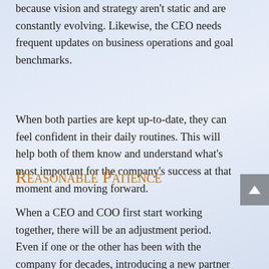because vision and strategy aren't static and are constantly evolving. Likewise, the CEO needs frequent updates on business operations and goal benchmarks.
When both parties are kept up-to-date, they can feel confident in their daily routines. This will help both of them know and understand what's most important for the company's success at that moment and moving forward.
Reasonable Patience
When a CEO and COO first start working together, there will be an adjustment period. Even if one or the other has been with the company for decades, introducing a new partner (of sorts) will change things. For this